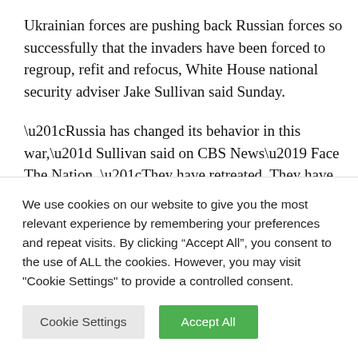Ukrainian forces are pushing back Russian forces so successfully that the invaders have been forced to regroup, refit and refocus, White House national security adviser Jake Sullivan said Sunday.
“Russia has changed its behavior in this war,” Sullivan said on CBS News’ Face The Nation. “They have retreated. They have pulled back from substantial territory in northern and northeastern Ukraine. Chiefly the reason they made
We use cookies on our website to give you the most relevant experience by remembering your preferences and repeat visits. By clicking “Accept All”, you consent to the use of ALL the cookies. However, you may visit "Cookie Settings" to provide a controlled consent.